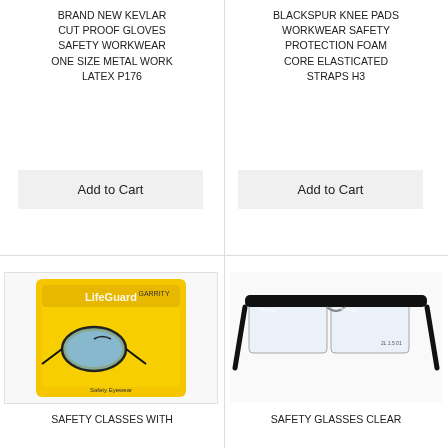BRAND NEW KEVLAR CUT PROOF GLOVES SAFETY WORKWEAR ONE SIZE METAL WORK LATEX P176
Add to Cart
BLACKSPUR KNEE PADS WORKWEAR SAFETY PROTECTION FOAM CORE ELASTICATED STRAPS H3
Add to Cart
[Figure (photo): Safety glasses in yellow packaging with Garrity branding, showing blue-tinted safety goggles]
SAFETY CLASSES WITH
[Figure (photo): Clear safety glasses with black frame, wide lens, adjustable arms]
SAFETY GLASSES CLEAR